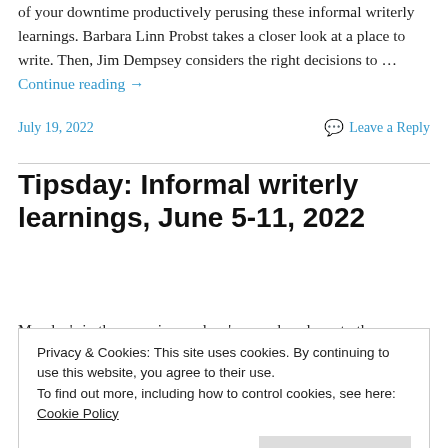of your downtime productively perusing these informal writerly learnings. Barbara Linn Probst takes a closer look at a place to write. Then, Jim Dempsey considers the right decisions to … Continue reading →
July 19, 2022    Leave a Reply
Tipsday: Informal writerly learnings, June 5-11, 2022
Monday's in the rear-view and we're one day closer to the
Privacy & Cookies: This site uses cookies. By continuing to use this website, you agree to their use.
To find out more, including how to control cookies, see here: Cookie Policy
… Continue reading →